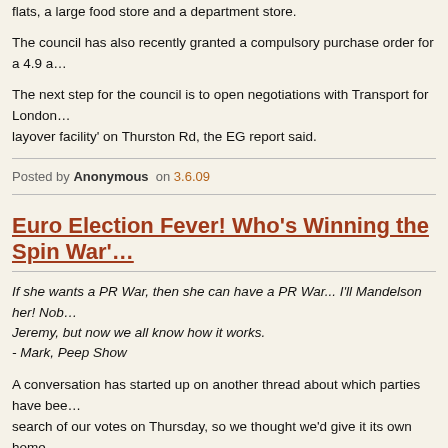flats, a large food store and a department store.
The council has also recently granted a compulsory purchase order for a 4.9 a…
The next step for the council is to open negotiations with Transport for London… layover facility' on Thurston Rd, the EG report said.
Posted by Anonymous on 3.6.09
Euro Election Fever! Who's Winning the Spin War?
If she wants a PR War, then she can have a PR War... I'll Mandelson her! Nob… Jeremy, but now we all know how it works.
- Mark, Peep Show
A conversation has started up on another thread about which parties have bee… search of our votes on Thursday, so we thought we'd give it its own home.
Brockley Central has not received any political leaflets during the campaign, ah… contacted by our Green Councillors. With the exception of Heidi Alexander, the… who've ever bothered with the blog.
Of course, we have also seen the daft posters by the Christian Party in Brockle…